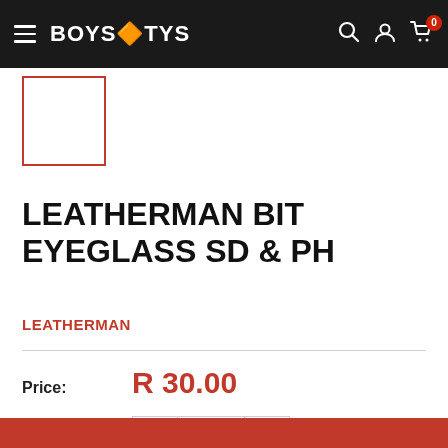BOYS N TOYS — navigation bar with hamburger menu, logo, search, account, and cart icons
[Figure (other): Product thumbnail placeholder — white box with red border]
LEATHERMAN BIT EYEGLASS SD & PH
LEATHERMAN
Price: R 30.00
Quantity: 1